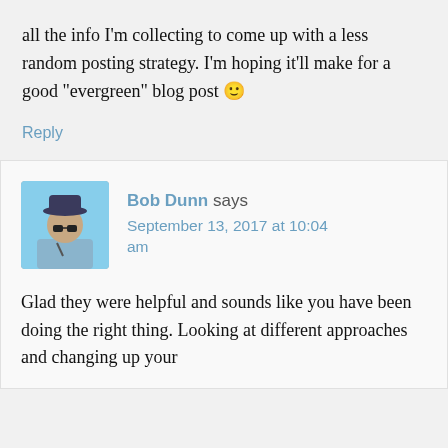all the info I'm collecting to come up with a less random posting strategy. I'm hoping it'll make for a good “evergreen” blog post 🙂
Reply
Bob Dunn says
September 13, 2017 at 10:04 am
[Figure (photo): Avatar photo of Bob Dunn, a man wearing a hat outdoors]
Glad they were helpful and sounds like you have been doing the right thing. Looking at different approaches and changing up your